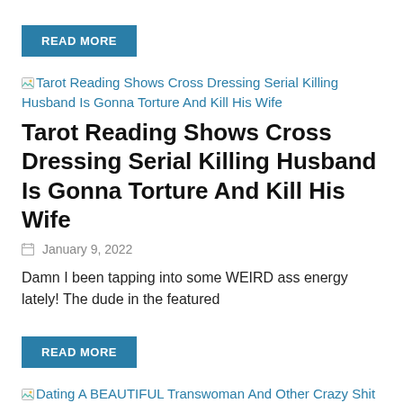READ MORE
Tarot Reading Shows Cross Dressing Serial Killing Husband Is Gonna Torture And Kill His Wife
Tarot Reading Shows Cross Dressing Serial Killing Husband Is Gonna Torture And Kill His Wife
January 9, 2022
Damn I been tapping into some WEIRD ass energy lately! The dude in the featured
READ MORE
Dating A BEAUTIFUL Transwoman And Other Crazy Shit I Got Into This Weekend